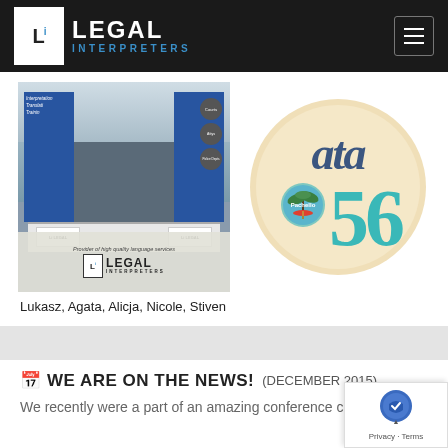Legal Interpreters
[Figure (photo): Legal Interpreters booth at ATA 56 conference, showing five staff members behind a table with branded materials]
[Figure (logo): ATA 56 conference logo - circular beige badge with 'ata' in cursive and '56' in teal, with a Pachello palm tree motif]
Lukasz, Agata, Alicja, Nicole, Stiven
WE ARE ON THE NEWS!  (DECEMBER 2015)
We recently were a part of an amazing conference called